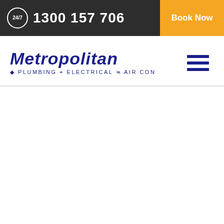24/7  1300 157 706  Book Now
[Figure (logo): Metropolitan Plumbing + Electrical = Air Con logo in dark blue with italic bold text]
[Figure (other): Hamburger menu icon with three horizontal dark blue lines]